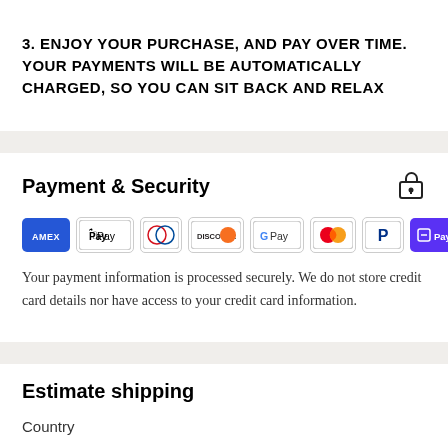3. ENJOY YOUR PURCHASE, AND PAY OVER TIME. YOUR PAYMENTS WILL BE AUTOMATICALLY CHARGED, SO YOU CAN SIT BACK AND RELAX
Payment & Security
[Figure (infographic): Row of payment method icons: American Express, Apple Pay, Diners Club, Discover, Google Pay, Mastercard, PayPal, Shop Pay, Visa]
Your payment information is processed securely. We do not store credit card details nor have access to your credit card information.
Estimate shipping
Country